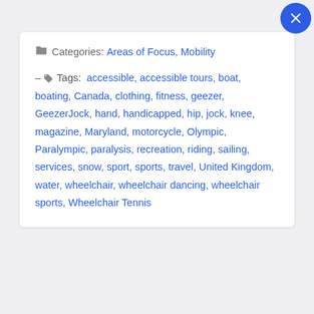Categories: Areas of Focus, Mobility
Tags: accessible, accessible tours, boat, boating, Canada, clothing, fitness, geezer, GeezerJock, hand, handicapped, hip, jock, knee, magazine, Maryland, motorcycle, Olympic, Paralympic, paralysis, recreation, riding, sailing, services, snow, sport, sports, travel, United Kingdom, water, wheelchair, wheelchair dancing, wheelchair sports, Wheelchair Tennis